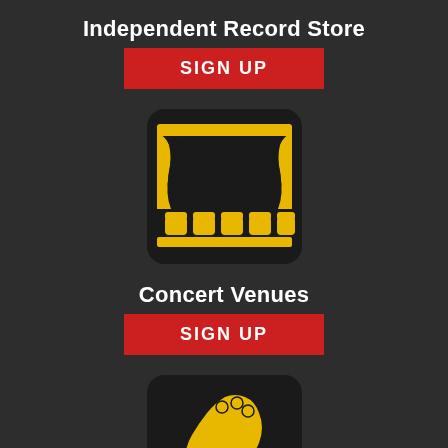Independent Record Store
[Figure (other): Red SIGN UP button]
[Figure (illustration): Yellow and black theater/concert venue icon showing stage curtains and seats]
Concert Venues
[Figure (other): Red SIGN UP button]
[Figure (illustration): Yellow and black electric guitar headstock icon]
Latest Bands